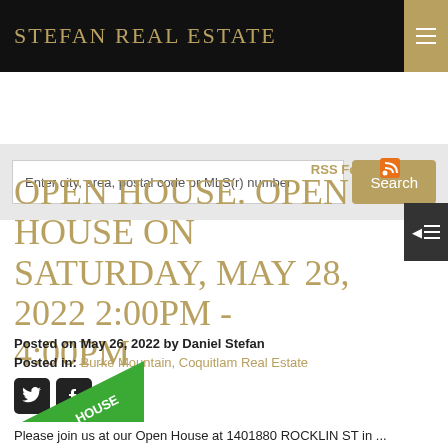STEFAN REAL ESTATE
Enter city, area, postal code or MLS(r) number
Search
RSS Feed
OPEN HOUSE. OPEN HOUSE ON SATURDAY, MAY 28, 2022 2:00PM - 4:00PM
Posted on May 26, 2022 by Daniel Stefan
Posted in: Burke Mountain, Coquitlam Real Estate
[Figure (illustration): Green open house badge/triangle in bottom left corner]
Please join us at our Open House at 1401880 ROCKLIN ST in ...